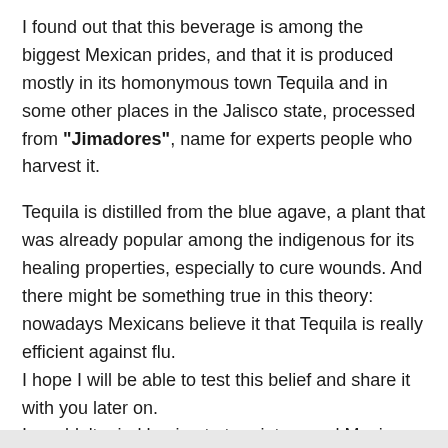I found out that this beverage is among the biggest Mexican prides, and that it is produced mostly in its homonymous town Tequila and in some other places in the Jalisco state, processed from "Jimadores", name for experts people who harvest it.
Tequila is distilled from the blue agave, a plant that was already popular among the indigenous for its healing properties, especially to cure wounds. And there might be something true in this theory: nowadays Mexicans believe it that Tequila is really efficient against flu. I hope I will be able to test this belief and share it with you later on. I wouldn't mind having to turn into a real Mexican by using whatever excuse to have a shot of this fabulous drink in a "caballito", a dedicated small glass for tequila.